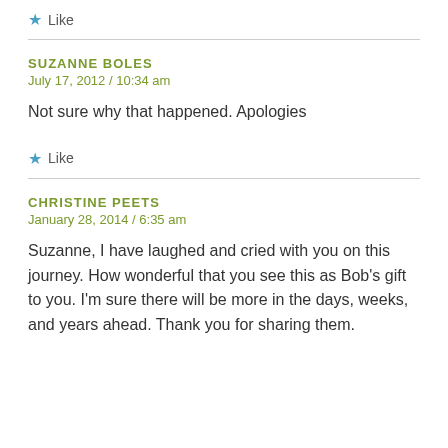★ Like
SUZANNE BOLES
July 17, 2012 / 10:34 am
Not sure why that happened. Apologies
★ Like
CHRISTINE PEETS
January 28, 2014 / 6:35 am
Suzanne, I have laughed and cried with you on this journey. How wonderful that you see this as Bob's gift to you. I'm sure there will be more in the days, weeks, and years ahead. Thank you for sharing them.